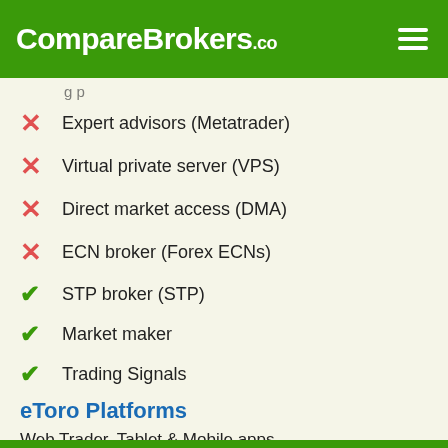CompareBrokers.co
(truncated top item)
✗ Expert advisors (Metatrader)
✗ Virtual private server (VPS)
✗ Direct market access (DMA)
✗ ECN broker (Forex ECNs)
✓ STP broker (STP)
✓ Market maker
✓ Trading Signals
eToro Platforms
Web Trader, Tablet & Mobile apps
eToro Languages
English, German, Spanish, French, Italian